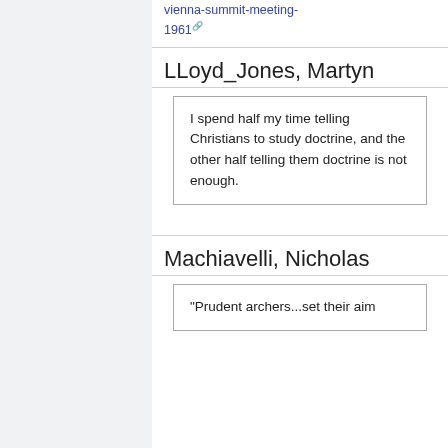vienna-summit-meeting-1961
LLoyd_Jones, Martyn
I spend half my time telling Christians to study doctrine, and the other half telling them doctrine is not enough.
Machiavelli, Nicholas
"Prudent archers...set their aim